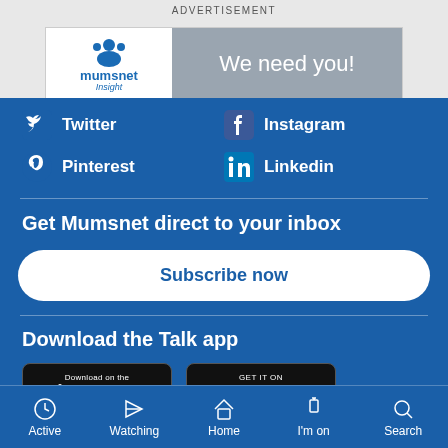ADVERTISEMENT
[Figure (logo): Mumsnet Insight advertisement banner with text 'We need you!']
Twitter
Instagram
Pinterest
Linkedin
Get Mumsnet direct to your inbox
Subscribe now
Download the Talk app
[Figure (screenshot): App Store download badge]
[Figure (screenshot): Google Play download badge]
Active  Watching  Home  I'm on  Search